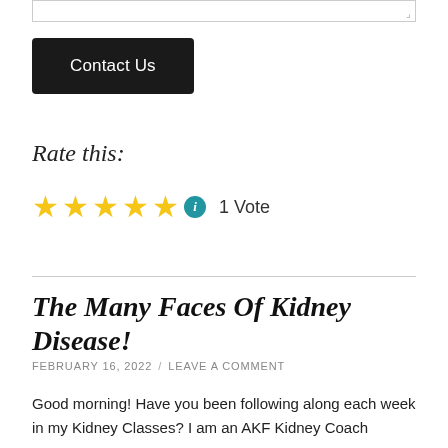[Figure (other): Textarea input stub at the top of the page]
Contact Us
Rate this:
[Figure (other): Five gold stars rating widget with info icon showing 1 Vote]
The Many Faces Of Kidney Disease!
FEBRUARY 16, 2022 / LEAVE A COMMENT
Good morning! Have you been following along each week in my Kidney Classes? I am an AKF Kidney Coach